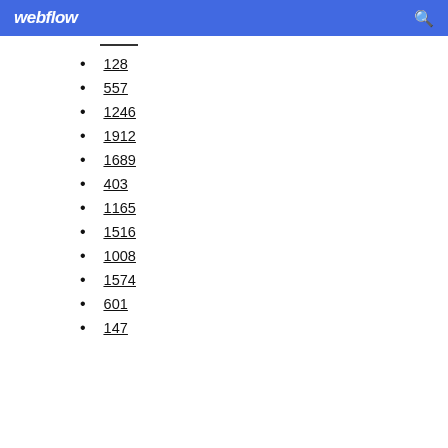webflow
128
557
1246
1912
1689
403
1165
1516
1008
1574
601
147